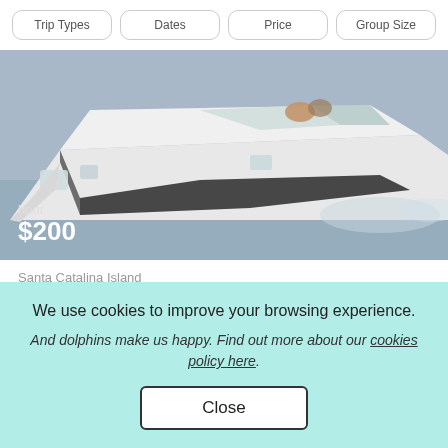Trip Types | Dates | Price | Group Size
[Figure (photo): A white motorboat/yacht viewed from the side at an angle, moving through blue-grey water. People visible in the cockpit area. Price overlay shows 'hour' and '$200'.]
Santa Catalina Island
10 GUESTS
Power in Huntington Beach
We use cookies to improve your browsing experience.
And dolphins make us happy. Find out more about our cookies policy here.
Close